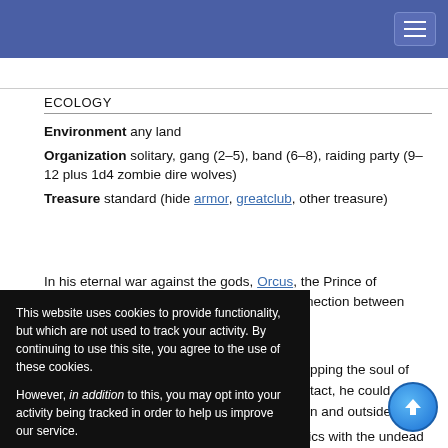Phil Grant
ECOLOGY
Environment any land
Organization solitary, gang (2–5), band (6–8), raiding party (9–12 plus 1d4 zombie dire wolves)
Treasure standard (hide armor, greatclub, other treasure)
In his eternal war against the gods, Orcus, the Prince of Demons, discovered a way to sever the connection between living beings and outside the
This website uses cookies to provide functionality, but which are not used to track your activity. By continuing to use this site, you agree to the use of these cookies.

However, in addition to this, you may opt into your activity being tracked in order to help us improve our service.

For more information, please click here
Though a soulless shares some characteristics with the undead